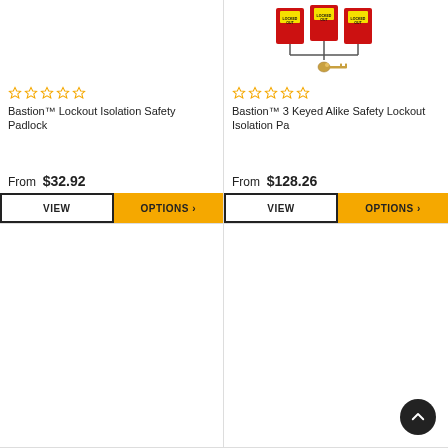[Figure (photo): Left card top area - empty white space (product image area for Bastion Lockout Isolation Safety Padlock)]
[Figure (photo): Right card - photo of three red lockout padlocks with a key below them connected by lines]
☆☆☆☆☆
☆☆☆☆☆
Bastion™ Lockout Isolation Safety Padlock
Bastion™ 3 Keyed Alike Safety Lockout Isolation Pa
From $32.92
From $128.26